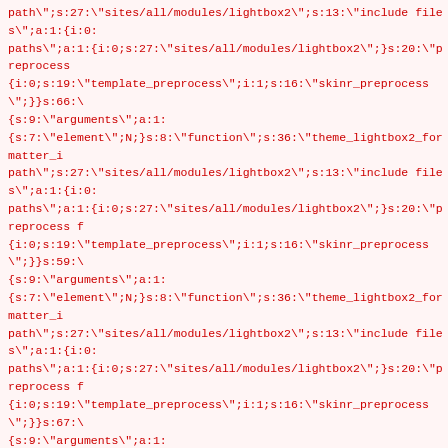path";s:27:"sites/all/modules/lightbox2";s:13:"include files";a:1:{i:0:paths";a:1:{i:0;s:27:"sites/all/modules/lightbox2";}s:20:"preprocess {i:0;s:19:"template_preprocess";i:1;s:16:"skinr_preprocess";}}s:66:\{s:9:"arguments";a:1:{s:7:"element";N;}s:8:"function";s:36:"theme_lightbox2_formatter_ipath";s:27:"sites/all/modules/lightbox2";s:13:"include files";a:1:{i:0:paths";a:1:{i:0;s:27:"sites/all/modules/lightbox2";}s:20:"preprocess f{i:0;s:19:"template_preprocess";i:1;s:16:"skinr_preprocess";}}s:59:\{s:9:"arguments";a:1:{s:7:"element";N;}s:8:"function";s:36:"theme_lightbox2_formatter_ipath";s:27:"sites/all/modules/lightbox2";s:13:"include files";a:1:{i:0:paths";a:1:{i:0;s:27:"sites/all/modules/lightbox2";}s:20:"preprocess f{i:0;s:19:"template_preprocess";i:1;s:16:"skinr_preprocess";}}s:67:\{s:9:"arguments";a:1:{s:7:"element";N;}s:8:"function";s:36:"theme_lightbox2_formatter_ipath";s:27:"sites/all/modules/lightbox2";s:13:"include files";a:1:{i:0:paths";a:1:{i:0;s:27:"sites/all/modules/lightbox2";}s:20:"preprocess f{i:0;s:19:"template_preprocess";i:1;s:16:"skinr_preprocess";}}s:60:\{s:9:"arguments";a:1:{s:7:"element";N;}s:8:"function";s:36:"theme_lightbox2_formatter_ipath";s:27:"sites/all/modules/lightbox2";s:13:"include files";a:1:{i:0:paths";a:1:{i:0;s:27:"sites/all/modules/lightbox2";}s:20:"preprocess f{i:0;s:19:"template_preprocess";i:1;s:16:"skinr_preprocess";}}s:68:\{s:9:"arguments";a:1:{s:7:"element";N;}s:8:"function";s:36:"theme_lightbox2_formatter_i